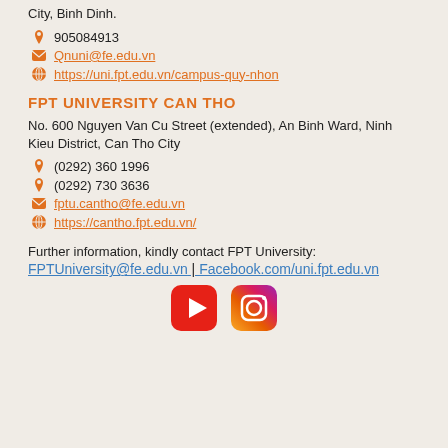City, Binh Dinh.
905084913
Qnuni@fe.edu.vn
https://uni.fpt.edu.vn/campus-quy-nhon
FPT UNIVERSITY CAN THO
No. 600 Nguyen Van Cu Street (extended), An Binh Ward, Ninh Kieu District, Can Tho City
(0292) 360 1996
(0292) 730 3636
fptu.cantho@fe.edu.vn
https://cantho.fpt.edu.vn/
Further information, kindly contact FPT University:
FPTUniversity@fe.edu.vn | Facebook.com/uni.fpt.edu.vn
[Figure (logo): YouTube and Instagram social media icons]